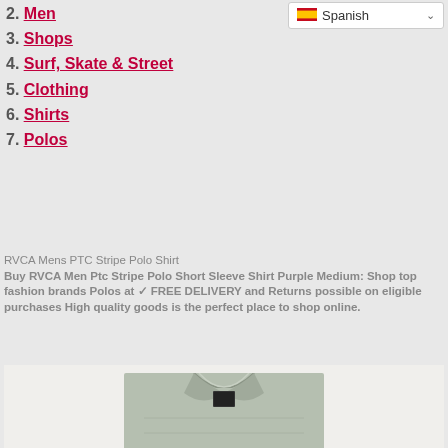2. Men
3. Shops
4. Surf, Skate & Street
5. Clothing
6. Shirts
7. Polos
RVCA Mens PTC Stripe Polo Shirt
Buy RVCA Men Ptc Stripe Polo Short Sleeve Shirt Purple Medium: Shop top fashion brands Polos at ✓ FREE DELIVERY and Returns possible on eligible purchases High quality goods is the perfect place to shop online.
[Figure (photo): Photo of a light grey/sage green RVCA polo shirt collar and upper chest area]